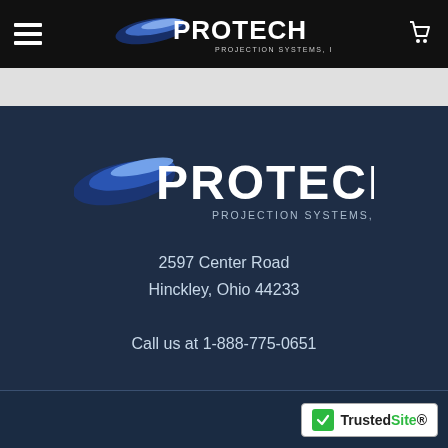[Figure (screenshot): Website header with black background showing hamburger menu icon on left, Protech Projection Systems Inc. logo in center, and shopping cart icon on right]
[Figure (logo): Protech Projection Systems Inc. logo on dark navy background with blue swoosh graphic]
2597 Center Road
Hinckley, Ohio 44233

Call us at 1-888-775-0651
[Figure (logo): TrustedSite badge with green checkmark]